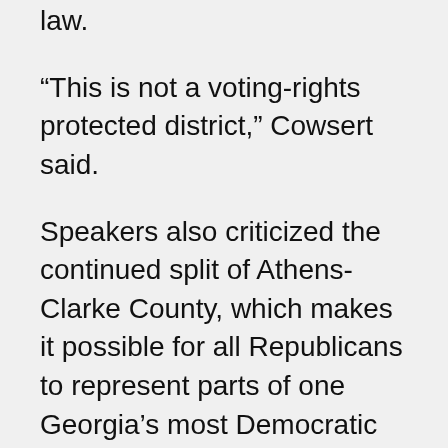law.
“This is not a voting-rights protected district,” Cowsert said.
Speakers also criticized the continued split of Athens-Clarke County, which makes it possible for all Republicans to represent parts of one Georgia’s most Democratic counties, as well as how Gwinnett County is split.
The map would draw districts now in northern Cobb and Fulton counties into more Republican areas of Cherokee and Bartow counties, likely creating easier paths to reelection for several Republican